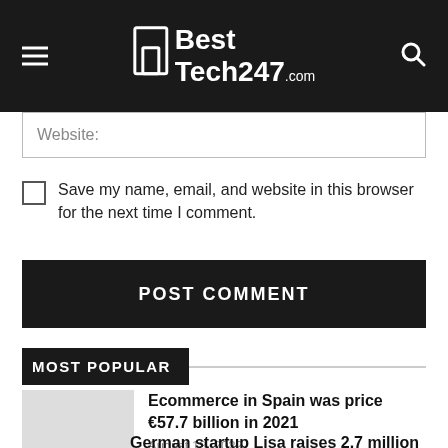BestTech247.com
Website:
Save my name, email, and website in this browser for the next time I comment.
POST COMMENT
MOST POPULAR
Ecommerce in Spain was price €57.7 billion in 2021
August 18, 2022
German startup Lisa raises 2.7 million